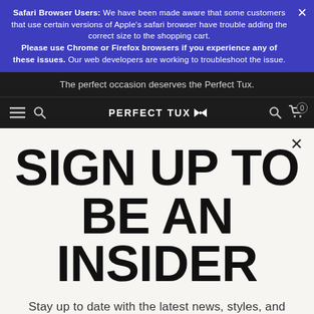Safari Browser Users: We have been made aware that some customers that use certain versions of Apple's safari browser have trouble adding the correct size to the shopping cart. Please use Chrome or Firefox browsers if you experience any of these issues. Our web developers are working to troubleshoot the issue.
The perfect occasion deserves the Perfect Tux.
PERFECT TUX
SIGN UP TO BE AN INSIDER
Stay up to date with the latest news, styles, and get email only offers when you join.